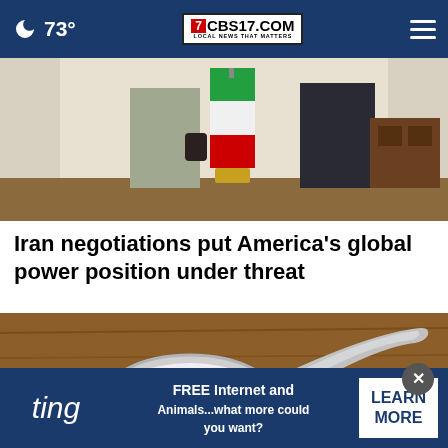73° CBS17.COM LOCAL NEWS THAT MATTERS
[Figure (photo): Two people standing in a formal room with an Iranian flag (red, white, green with emblem) on a gold stand; one person in a dark suit, another in lighter clothing; wooden furniture in background]
Iran negotiations put America's global power position under threat
[Figure (photo): Close-up of a plastic measuring scoop filled with white powder (possibly protein powder or formula) resting on a wooden surface]
FREE Internet and Animals...what more could you want? LEARN MORE